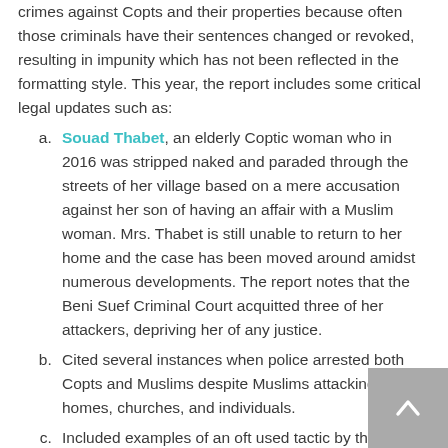crimes against Copts and their properties because often those criminals have their sentences changed or revoked, resulting in impunity which has not been reflected in the formatting style. This year, the report includes some critical legal updates such as:
a. Souad Thabet, an elderly Coptic woman who in 2016 was stripped naked and paraded through the streets of her village based on a mere accusation against her son of having an affair with a Muslim woman. Mrs. Thabet is still unable to return to her home and the case has been moved around amidst numerous developments. The report notes that the Beni Suef Criminal Court acquitted three of her attackers, depriving her of any justice.
b. Cited several instances when police arrested both Copts and Muslims despite Muslims attacking Coptic homes, churches, and individuals.
c. Included examples of an oft used tactic by the judicial system to allow attackers of Copts to escape justice, blaming it on psychological problems, as in the case of